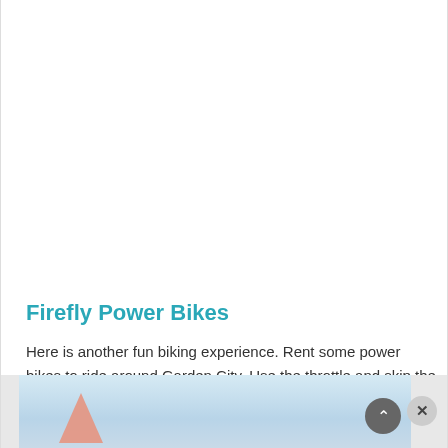Firefly Power Bikes
Here is another fun biking experience. Rent some power bikes to ride around Garden City. Use the throttle and skip the pedaling. We loved zooming around on the trails.
[Figure (photo): Bottom strip showing a partial outdoor/sky scene with orange flag shapes visible at left, light blue sky with clouds, and a dark circular scroll-to-top button and a close (X) button at the right.]